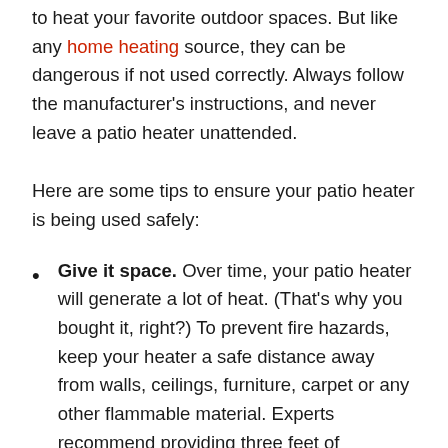to heat your favorite outdoor spaces. But like any home heating source, they can be dangerous if not used correctly. Always follow the manufacturer's instructions, and never leave a patio heater unattended.
Here are some tips to ensure your patio heater is being used safely:
Give it space. Over time, your patio heater will generate a lot of heat. (That's why you bought it, right?) To prevent fire hazards, keep your heater a safe distance away from walls, ceilings, furniture, carpet or any other flammable material. Experts recommend providing three feet of clearance around all sides of the heater, unless otherwise specified by the heater's